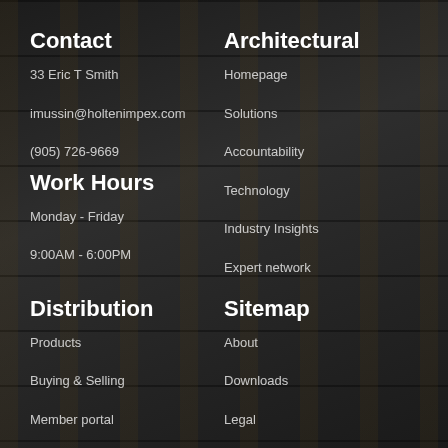Contact
33 Eric T Smith
imussin@holtenimpex.com
(905) 726-9669
Work Hours
Monday - Friday
9:00AM - 6:00PM
Architectural
Homepage
Solutions
Accountability
Technology
Industry Insights
Expert network
Distribution
Products
Buying & Selling
Member portal
Retail partners
Product inquiry
Sitemap
About
Downloads
Legal
News